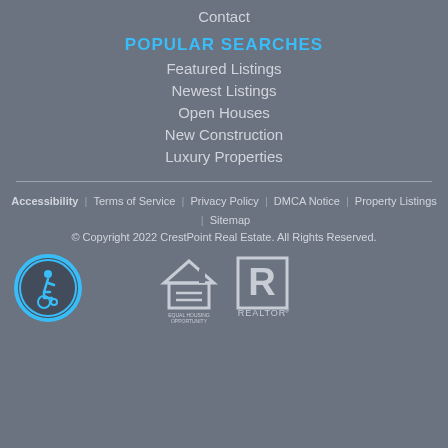Contact
POPULAR SEARCHES
Featured Listings
Newest Listings
Open Houses
New Construction
Luxury Properties
Accessibility | Terms of Service | Privacy Policy | DMCA Notice | Property Listings | Sitemap
© Copyright 2022 CrestPoint Real Estate. All Rights Reserved.
[Figure (logo): Accessibility wheelchair icon in blue circle]
[Figure (logo): Equal Housing Opportunity logo]
[Figure (logo): REALTOR logo]